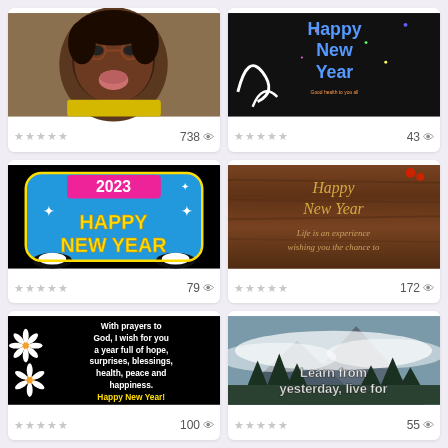[Figure (photo): Child making funny face with yellow scarf, rating stars, 738 views]
[Figure (photo): Happy New Year dark background with colorful text, rating stars, 43 views]
[Figure (photo): 2023 Happy New Year blue cartoon graphic, rating stars, 79 views]
[Figure (photo): Happy New Year wooden background with cursive text, rating stars, 172 views]
[Figure (photo): Black background with white text: With prayers to God, I wish for you a year full of hope, surprises, blessings, health, peace and happiness. Happy New Year! With daisy flowers.]
[Figure (photo): Mountain landscape with fog and trees, text: Learn from yesterday, live for]